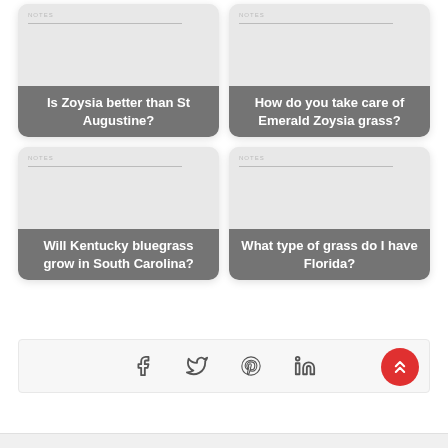[Figure (screenshot): Card with notes preview image and label: Is Zoysia better than St Augustine?]
[Figure (screenshot): Card with notes preview image and label: How do you take care of Emerald Zoysia grass?]
[Figure (screenshot): Card with notes preview image and label: Will Kentucky bluegrass grow in South Carolina?]
[Figure (screenshot): Card with notes preview image and label: What type of grass do I have Florida?]
[Figure (infographic): Social sharing bar with Facebook, Twitter, Pinterest, LinkedIn icons and a red scroll-to-top FAB button]